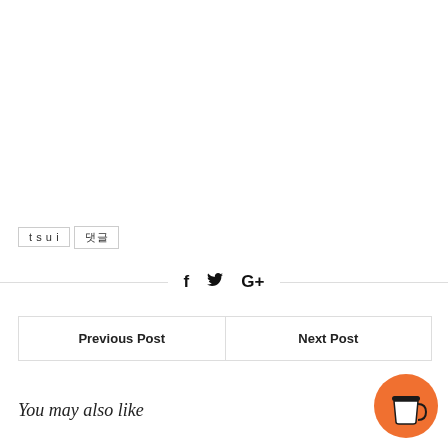tsui  댓글
[Figure (infographic): Social share icons: Facebook (f), Twitter bird, Google+ (G+) between horizontal divider lines]
| Previous Post | Next Post |
| --- | --- |
You may also like
[Figure (illustration): Orange circular coffee cup button in bottom right corner]